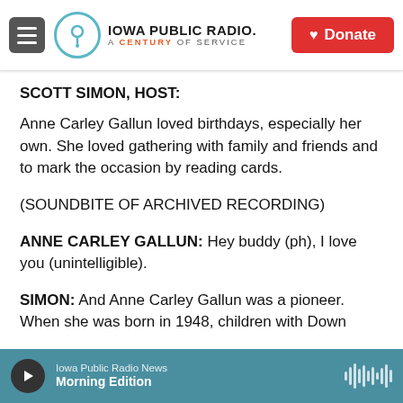Iowa Public Radio — A Century of Service | Donate
SCOTT SIMON, HOST:
Anne Carley Gallun loved birthdays, especially her own. She loved gathering with family and friends and to mark the occasion by reading cards.
(SOUNDBITE OF ARCHIVED RECORDING)
ANNE CARLEY GALLUN: Hey buddy (ph), I love you (unintelligible).
SIMON: And Anne Carley Gallun was a pioneer. When she was born in 1948, children with Down
Iowa Public Radio News — Morning Edition